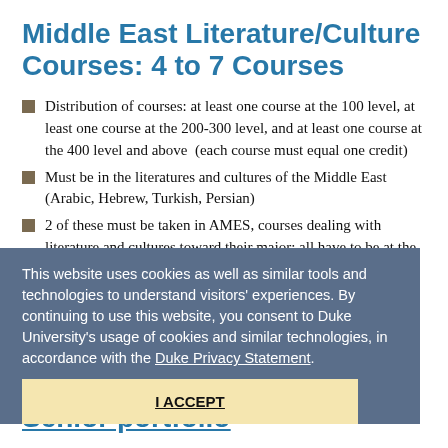Middle East Literature/Culture Courses: 4 to 7 Courses
Distribution of courses: at least one course at the 100 level, at least one course at the 200-300 level, and at least one course at the 400 level and above (each course must equal one credit)
Must be in the literatures and cultures of the Middle East (Arabic, Hebrew, Turkish, Persian)
2 of these must be taken in AMES, courses dealing with literature and cultures toward their major; all have to be at the 100-level and above
This website uses cookies as well as similar tools and technologies to understand visitors' experiences. By continuing to use this website, you consent to Duke University's usage of cookies and similar technologies, in accordance with the Duke Privacy Statement.
I ACCEPT
Senior portfolio